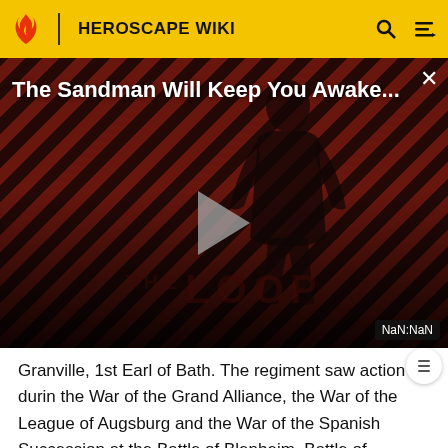HEROSCAPE WIKI
[Figure (screenshot): Video player overlay showing 'The Sandman Will Keep You Awake...' title on a dark red diagonal striped background with a figure silhouette, THE LOOP branding, a play button, and NaN:NaN timestamp.]
Granville, 1st Earl of Bath. The regiment saw action during the War of the Grand Alliance, the War of the League of Augsburg and the War of the Spanish Succession at the Battle of Blenheim, Battle of Ramillies and the Battle of Malplaquet.